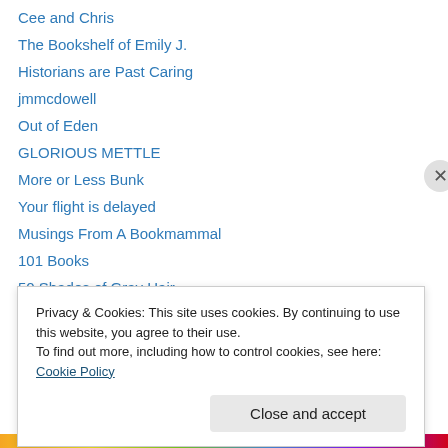Cee and Chris
The Bookshelf of Emily J.
Historians are Past Caring
jmmcdowell
Out of Eden
GLORIOUS METTLE
More or Less Bunk
Your flight is delayed
Musings From A Bookmammal
101 Books
50 Shades of Gray Hair
No Fixed Abode
The World According to Me...
Privacy & Cookies: This site uses cookies. By continuing to use this website, you agree to their use. To find out more, including how to control cookies, see here: Cookie Policy
Close and accept